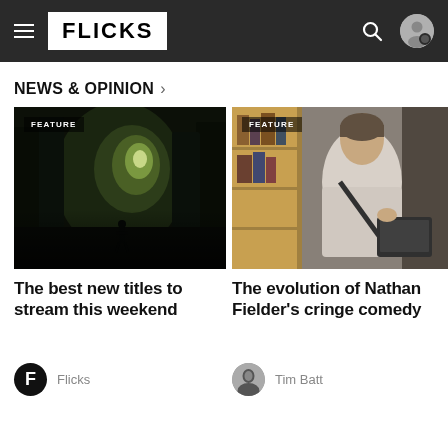FLICKS
NEWS & OPINION >
[Figure (photo): Dark forest tunnel with light at end, person silhouette in middle, FEATURE badge]
The best new titles to stream this weekend
Flicks
[Figure (photo): Man in white sweater with crossbody bag holding laptop, FEATURE badge, indoor setting with bookshelves]
The evolution of Nathan Fielder's cringe comedy
Tim Batt